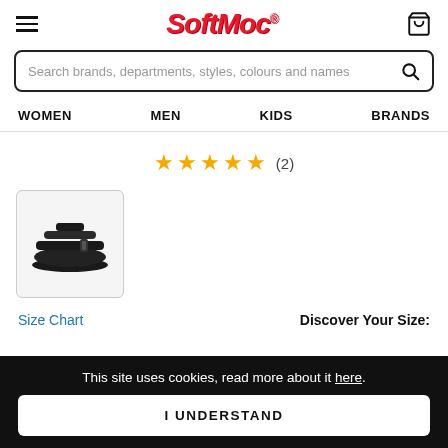SoftMoc
Search brands, departments, styles, colours and names
WOMEN   MEN   KIDS   BRANDS
★★★★★ (2)
[Figure (photo): Black sport sandal thumbnail in a light grey bordered box]
Size Chart    Discover Your Size:
This site uses cookies, read more about it here.
I UNDERSTAND